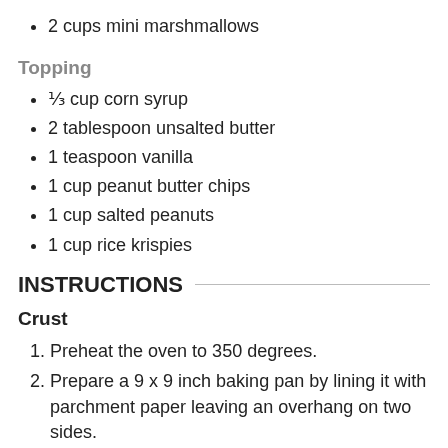2 cups mini marshmallows
Topping
⅓ cup corn syrup
2 tablespoon unsalted butter
1 teaspoon vanilla
1 cup peanut butter chips
1 cup salted peanuts
1 cup rice krispies
INSTRUCTIONS
Crust
Preheat the oven to 350 degrees.
Prepare a 9 x 9 inch baking pan by lining it with parchment paper leaving an overhang on two sides.
Combine flour, brown sugar, baking powder, baking soda, and salt in a medium bowl.
Add softened butter to the mixture and use your hands to mix it into the flour mixture.